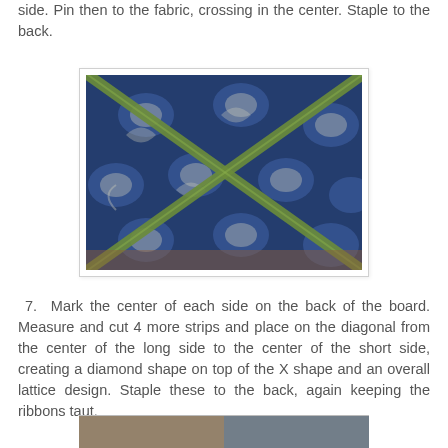side. Pin then to the fabric, crossing in the center. Staple to the back.
[Figure (photo): Blue and white damask fabric on a board with green ribbon strips crossing diagonally in an X pattern across the surface.]
7.  Mark the center of each side on the back of the board. Measure and cut 4 more strips and place on the diagonal from the center of the long side to the center of the short side, creating a diamond shape on top of the X shape and an overall lattice design. Staple these to the back, again keeping the ribbons taut.
[Figure (photo): Partial view of another photo below, partially cut off at the bottom of the page.]